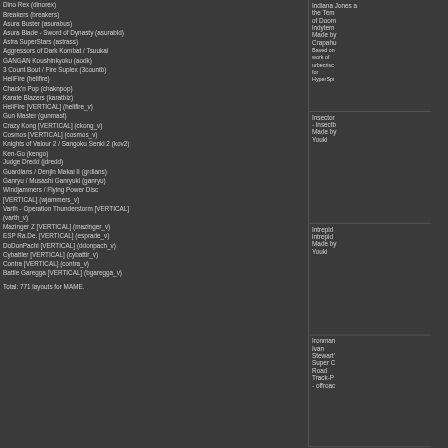Dino Rex (dinorex)
Breakers (breakers)
Asura Buster (asurabus)
Asura Blade - Sword of Dynasty (asurabld)
Astra SuperStars (astrass)
Aggressors of Dark Kombat / Tsuukai GANGAN Koushinkyoku (aodk)
3 Count Bout / Fire Suplex (3countb)
HeliFire (helifire)
Chack'n Pop (chaknpop)
Karate Blazers (karatblz)
HeliFire [VERTICAL] (helifire_v)
Gun Master (gunmast)
Crazy Kong [VERTICAL] (ckong_v)
Cosmos [VERTICAL] (cosmos_v)
Knights of Valour 2 / Sangoku Senki 2 (kov2)
Ken-Go (kengo)
Judge Dredd (jdredd)
Guardians / Denjin Makai II (grdians)
Ganryu / Musashi Ganryuki (ganryu)
Windjammers / Flying Power Disc [VERTICAL] (wjammers_v)
Varth - Operation Thunderstorm [VERTICAL] (varth_v)
Mazinger Z [VERTICAL] (mazinger_v)
ESP Ra.De. [VERTICAL] (esprade_v)
DoDonPachi [VERTICAL] (ddonpach_v)
Cybattler [VERTICAL] (cybattlr_v)
Contra [VERTICAL] (contra_v)
Battle Garegga [VERTICAL] (bgaregga_v)
Total: 771 layouts for MAME.
Indiana Jones and the Temple of Doom - indytemp
Made by Crapahutte
Based on work of urbecrisc for HyperSpin
Insector X - insectx
Made by Youki
Intrepid - intrepid
Made by Youki
Ironman Ivan Stewart's Super Off Road Track-P - offroad